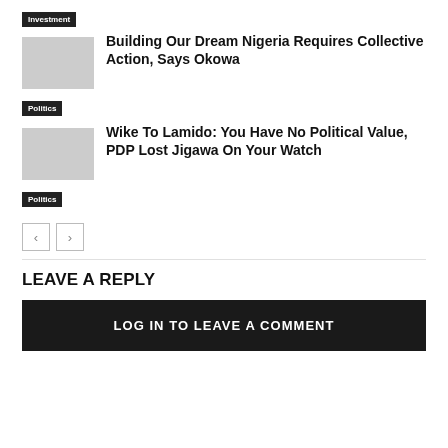Investment
Building Our Dream Nigeria Requires Collective Action, Says Okowa
Politics
Wike To Lamido: You Have No Political Value, PDP Lost Jigawa On Your Watch
Politics
LEAVE A REPLY
LOG IN TO LEAVE A COMMENT